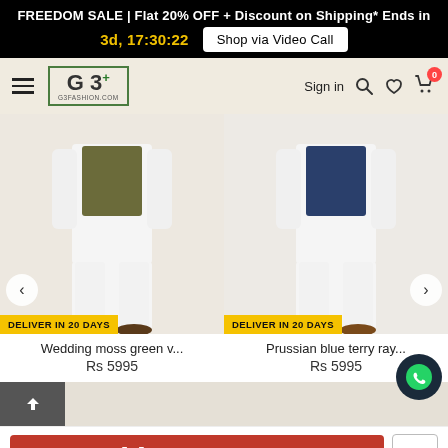FREEDOM SALE | Flat 20% OFF + Discount on Shipping* Ends in 3d, 17:30:22  Shop via Video Call
[Figure (screenshot): G3 Fashion website navigation bar with hamburger menu, G3+ logo, Sign in link, search icon, heart icon, and cart with badge showing 0]
[Figure (photo): Two product images side by side: left shows Wedding moss green outfit (white kurta/pajama with olive vest), right shows Prussian blue terry ray outfit (white kurta/pajama with navy vest). Both have DELIVER IN 20 DAYS badge.]
Wedding moss green v...
Rs 5995
Prussian blue terry ray...
Rs 5995
ADD TO CART